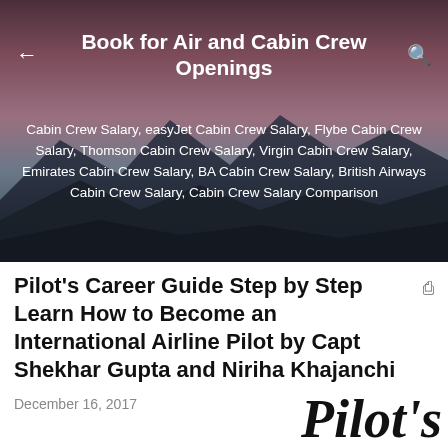Book for Air and Cabin Crew Openings
[Figure (photo): Aerial/sky background image with mountain silhouettes and dusk sky, used as hero banner]
Cabin Crew Salary, easyJet Cabin Crew Salary, Flybe Cabin Crew Salary, Thomson Cabin Crew Salary, Virgin Cabin Crew Salary, Emirates Cabin Crew Salary, BA Cabin Crew Salary, British Airways Cabin Crew Salary, Cabin Crew Salary Comparison
Pilot's Career Guide Step by Step Learn How to Become an International Airline Pilot by Capt Shekhar Gupta and Niriha Khajanchi
December 16, 2017
Pilot's